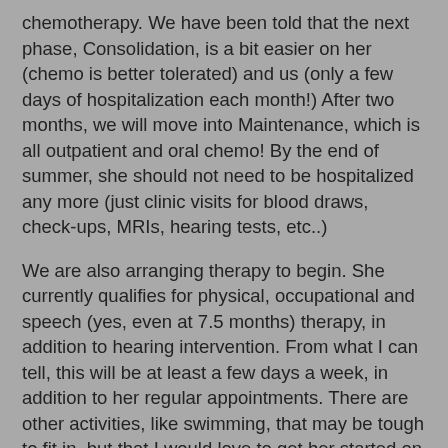chemotherapy.  We have been told that the next phase, Consolidation, is a bit easier on her (chemo is better tolerated) and us (only a few days of hospitalization each month!)  After two months, we will move into Maintenance, which is all outpatient and oral chemo!  By the end of summer, she should not need to be hospitalized any more (just clinic visits for blood draws, check-ups, MRIs, hearing tests, etc..)
We are also arranging therapy to begin.  She currently qualifies for physical, occupational and speech (yes, even at 7.5 months) therapy, in addition to hearing intervention.  From what I can tell, this will be at least a few days a week, in addition to her regular appointments.  There are other activities, like swimming, that may be tough to fit in, but that I would love to get her started on that will benefit her development, too.
We made a big decision about my job:  I quit.  I have been on disability since I went on Maternity leave in September, and I was so lucky to have that hold us over through the school year, but I can't do that next year.  I can't be the